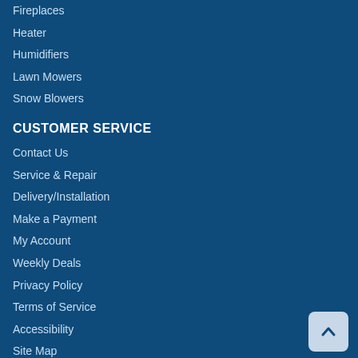Fireplaces
Heater
Humidifiers
Lawn Mowers
Snow Blowers
CUSTOMER SERVICE
Contact Us
Service & Repair
Delivery/Installation
Make a Payment
My Account
Weekly Deals
Privacy Policy
Terms of Service
Accessibility
Site Map
Do Not Sell My Personal Information
Welcome to our website! Our website offers a range of items that are in-stock, as well as items that can be special ordered from the manufacturer. If